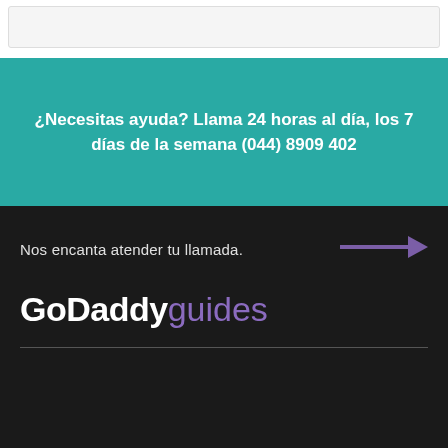¿Necesitas ayuda? Llama 24 horas al día, los 7 días de la semana (044) 8909 402
Nos encanta atender tu llamada.
[Figure (illustration): Purple arrow pointing right]
[Figure (logo): GoDaddy guides logo — 'GoDaddy' in white bold and 'guides' in purple light weight]